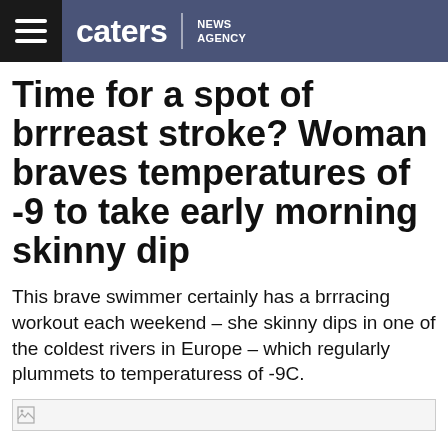caters NEWS AGENCY
Time for a spot of brrreast stroke? Woman braves temperatures of -9 to take early morning skinny dip
This brave swimmer certainly has a brrracing workout each weekend – she skinny dips in one of the coldest rivers in Europe – which regularly plummets to temperaturess of -9C.
[Figure (photo): Image placeholder (broken image icon) at bottom of page]